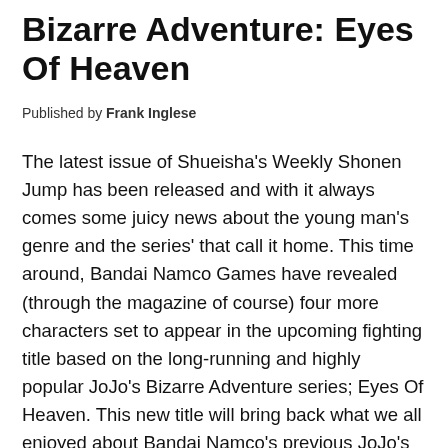Bizarre Adventure: Eyes Of Heaven
Published by Frank Inglese
The latest issue of Shueisha's Weekly Shonen Jump has been released and with it always comes some juicy news about the young man's genre and the series' that call it home. This time around, Bandai Namco Games have revealed (through the magazine of course) four more characters set to appear in the upcoming fighting title based on the long-running and highly popular JoJo's Bizarre Adventure series; Eyes Of Heaven. This new title will bring back what we all enjoyed about Bandai Namco's previous JoJo's Bizarre Adventure fighting title All-Star Battle but will also feature some huge updates to both gameplay mechanics and character roster. As mentioned in the article title; Iggy the Boston Terrier will return as a playable fighter in the new game as well as Dio Brando from the Phantom Blood arc of the series. The two characters